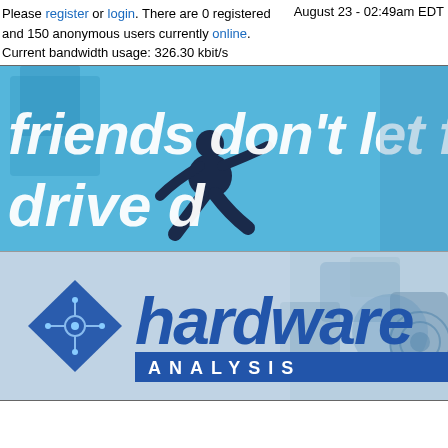Please register or login. There are 0 registered and 150 anonymous users currently online.
Current bandwidth usage: 326.30 kbit/s
August 23 - 02:49am EDT
[Figure (illustration): Banner advertisement with blue background showing silhouette of a runner and italic text 'friends don't let fri... drive d...' (text is cut off at right edge)]
[Figure (logo): Hardware Analysis website logo: blue diamond shape with circuit board icon on left, 'hardware' in large blue italic text, 'ANALYSIS' in smaller white text on blue bar beneath, set against a light blue background with abstract computer component shapes]